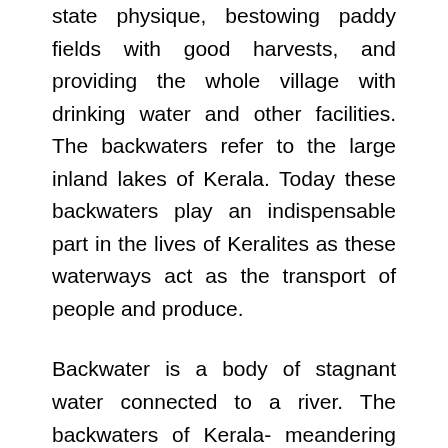state physique, bestowing paddy fields with good harvests, and providing the whole village with drinking water and other facilities. The backwaters refer to the large inland lakes of Kerala. Today these backwaters play an indispensable part in the lives of Keralites as these waterways act as the transport of people and produce.
Backwater is a body of stagnant water connected to a river. The backwaters of Kerala- meandering inland lakes networked by canals – stretch to over 1900km. Boat across these tranquil stretches is an experience unique to Kerala. Large Kettuvalloms (traditional country crafts over 60ft. in length) have been converted into